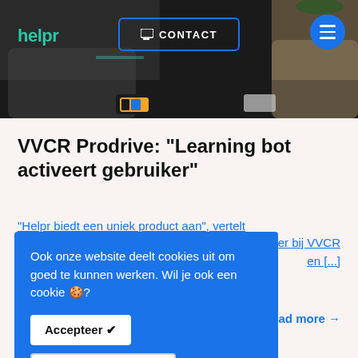[Figure (photo): Header image showing two people sitting on chairs/couches in what appears to be a studio or office setting. One person wears colorful sneakers. Background is dark.]
VVCR Prodrive: “Learning bot activeert gebruiker”
“Helpr biedt een uniek product aan”, vertelt cer bij VVCR en [...]
Ook onze website deelt cookies uit om goed te kunnen werken. Wil je ook een cookie 🍪?
Ik wil geen cookie 😟
Accepteer ✔
Opties
Read more →